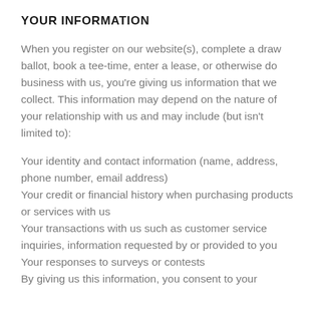YOUR INFORMATION
When you register on our website(s), complete a draw ballot, book a tee-time, enter a lease, or otherwise do business with us, you're giving us information that we collect. This information may depend on the nature of your relationship with us and may include (but isn't limited to):
Your identity and contact information (name, address, phone number, email address)
Your credit or financial history when purchasing products or services with us
Your transactions with us such as customer service inquiries, information requested by or provided to you
Your responses to surveys or contests
By giving us this information, you consent to your